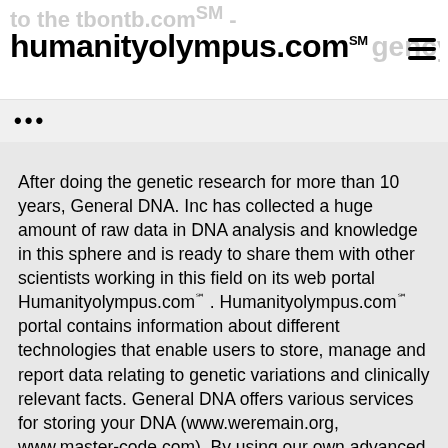humanityolympus.com℠
...
After doing the genetic research for more than 10 years, General DNA. Inc has collected a huge amount of raw data in DNA analysis and knowledge in this sphere and is ready to share them with other scientists working in this field on its web portal Humanityolympus.com℠ . Humanityolympus.com℠ portal contains information about different technologies that enable users to store, manage and report data relating to genetic variations and clinically relevant facts. General DNA offers various services for storing your DNA (www.weremain.org, www.master-code.com). By using our own advanced technology (www.cosmocode.com) we can guarantee the storage and preservation of biological specimen of living and deceased individual for up to 50,000 years. To ensure